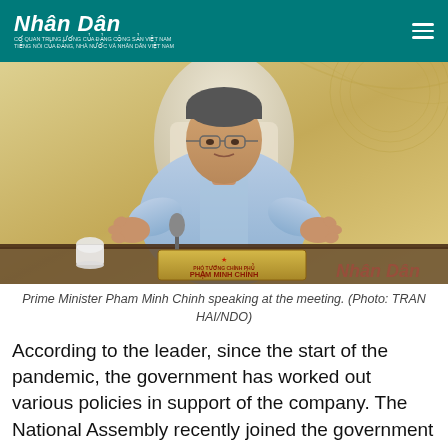Nhân Dân — Cơ quan Trung ương của Đảng Cộng sản Việt Nam, Tiếng nói của Đảng, Nhà nước và Nhân dân Việt Nam
[Figure (photo): Prime Minister Pham Minh Chinh speaking at a meeting, gesturing with both hands, seated at a government meeting table with a nameplate reading PHÓ TƯỚNG CHÍNH PHỦ / PHẠM MINH CHÍNH, golden decorative background.]
Prime Minister Pham Minh Chinh speaking at the meeting. (Photo: TRAN HAI/NDO)
According to the leader, since the start of the pandemic, the government has worked out various policies in support of the company. The National Assembly recently joined the government in the effort, and the government